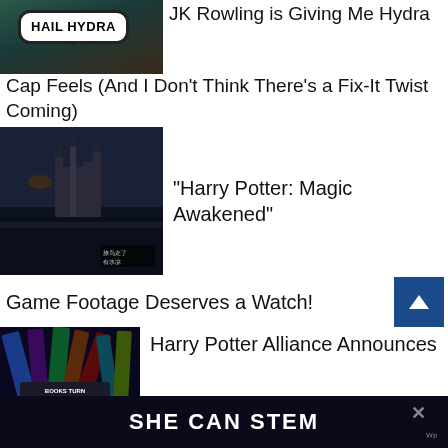[Figure (photo): Person with teal/green hair holding a 'HAIL HYDRA' speech bubble sign]
JK Rowling is Giving Me Hydra Cap Feels (And I Don't Think There's a Fix-It Twist Coming)
[Figure (screenshot): Screenshot of Harry Potter: Magic Awakened mobile game showing Hogwarts castle]
"Harry Potter: Magic Awakened"
Game Footage Deserves a Watch!
[Figure (photo): Collection of colorful bookmarks with Harry Potter themes]
Harry Potter Alliance Announces
SHE CAN STEM